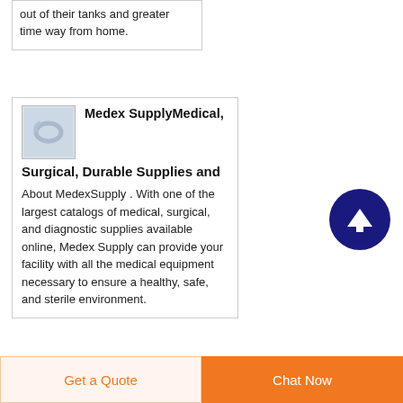out of their tanks and greater time way from home.
Medex SupplyMedical, Surgical, Durable Supplies and
About MedexSupply . With one of the largest catalogs of medical, surgical, and diagnostic supplies available online, Medex Supply can provide your facility with all the medical equipment necessary to ensure a healthy, safe, and sterile environment.
[Figure (illustration): Small thumbnail image of a medical supply item (looks like tubing or cable), bluish-white color]
[Figure (other): Dark navy blue circular button with white upward arrow icon (scroll to top button)]
Get a Quote
Chat Now